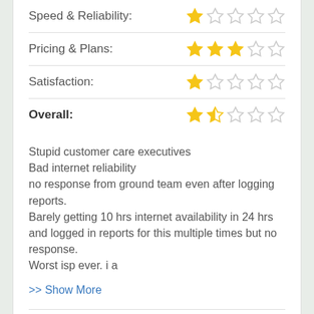Speed & Reliability: ★☆☆☆☆
Pricing & Plans: ★★★☆☆
Satisfaction: ★☆☆☆☆
Overall: ★½☆☆☆
Stupid customer care executives
Bad internet reliability
no response from ground team even after logging reports.
Barely getting 10 hrs internet availability in 24 hrs and logged in reports for this multiple times but no response.
Worst isp ever. i a
>> Show More
June 24, 2019 @ 04:05